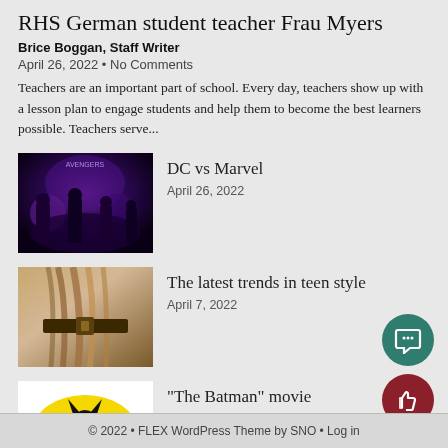RHS German student teacher Frau Myers
Brice Boggan, Staff Writer
April 26, 2022 • No Comments
Teachers are an important part of school. Every day, teachers show up with a lesson plan to engage students and help them to become the best learners possible. Teachers serve...
[Figure (photo): Marvel superhero movie poster thumbnail with purple/dark tones]
DC vs Marvel
April 26, 2022
[Figure (photo): Teen style photo thumbnail with hair and accessories]
The latest trends in teen style
April 7, 2022
[Figure (photo): Batman logo on white background]
“The Batman” movie
April 7, 2022
© 2022 • FLEX WordPress Theme by SNO • Log in